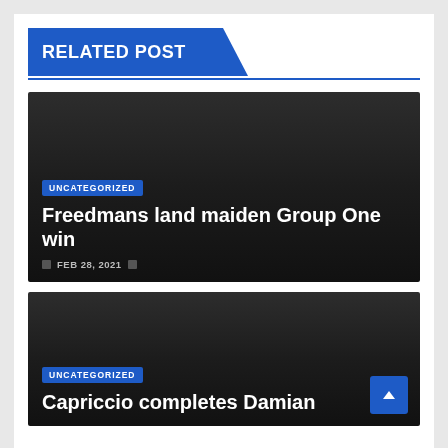RELATED POST
[Figure (screenshot): Dark card with UNCATEGORIZED badge, title 'Freedmans land maiden Group One win', date FEB 28, 2021]
Freedmans land maiden Group One win
FEB 28, 2021
[Figure (screenshot): Dark card with UNCATEGORIZED badge, title 'Capriccio completes Damian']
Capriccio completes Damian